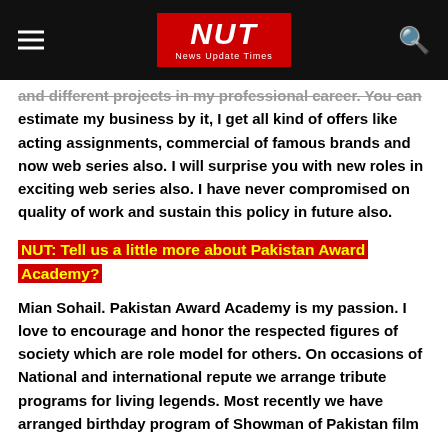NUT News Update Times
and different projects in my professional career. You can estimate my business by it, I get all kind of offers like acting assignments, commercial of famous brands and now web series also. I will surprise you with new roles in exciting web series also. I have never compromised on quality of work and sustain this policy in future also.
NUT: Tell us a little more about Pakistan Award Academy?
Mian Sohail. Pakistan Award Academy is my passion. I love to encourage and honor the respected figures of society which are role model for others. On occasions of National and international repute we arrange tribute programs for living legends. Most recently we have arranged birthday program of Showman of Pakistan film